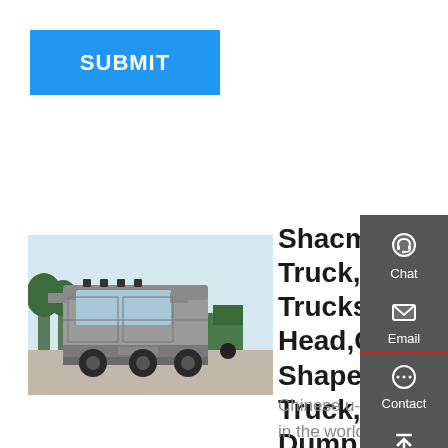[Figure (other): Blue SUBMIT button]
[Figure (photo): Photo of a Shacman heavy truck (tractor head) in grey/silver color, front view, parked in a lot with trees in background]
Shacman Truck,F3000,F2000,D Trucks,Tractor Head,China - China U-Shape Dump Truck,Chinese U Shape Dump Truck...
Chinese u-shape dump truck is popular in the world,and china